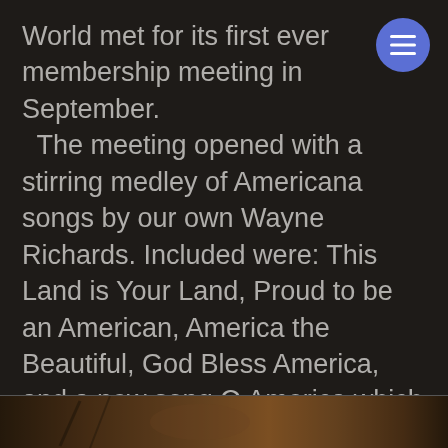World met for its first ever membership meeting in September.
  The meeting opened with a stirring medley of Americana songs by our own Wayne Richards. Included were: This Land is Your Land, Proud to be an American, America the Beautiful, God Bless America, and a new song O America which Wayne discovered on YouTube.  Following that was a dinner of box lunches from Publix gathered together by our food team, Dan and Mary Ellen Marello.
[Figure (photo): Partial view of a photograph at the bottom of the page, showing an indistinct warm-toned brownish image.]